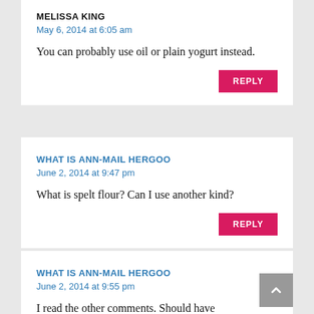MELISSA KING
May 6, 2014 at 6:05 am
You can probably use oil or plain yogurt instead.
REPLY
WHAT IS ANN-MAIL HERGOO
June 2, 2014 at 9:47 pm
What is spelt flour? Can I use another kind?
REPLY
WHAT IS ANN-MAIL HERGOO
June 2, 2014 at 9:55 pm
I read the other comments. Should have